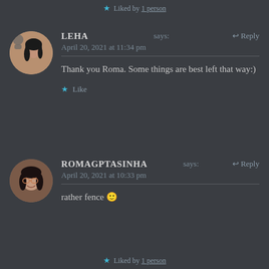Liked by 1 person
LEHA says: April 20, 2021 at 11:34 pm — Reply
Thank you Roma. Some things are best left that way:)
Like
ROMAGPTASINHA says: April 20, 2021 at 10:33 pm — Reply
rather fence 🙂
Liked by 1 person